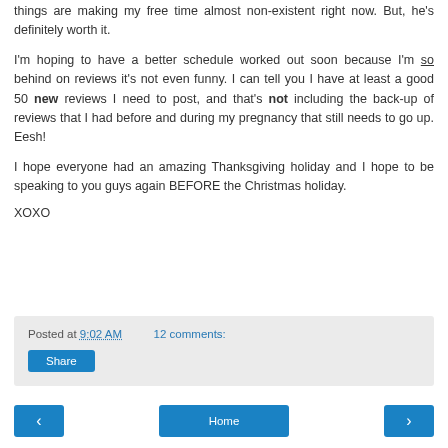things are making my free time almost non-existent right now. But, he's definitely worth it.
I'm hoping to have a better schedule worked out soon because I'm so behind on reviews it's not even funny. I can tell you I have at least a good 50 new reviews I need to post, and that's not including the back-up of reviews that I had before and during my pregnancy that still needs to go up. Eesh!
I hope everyone had an amazing Thanksgiving holiday and I hope to be speaking to you guys again BEFORE the Christmas holiday.
XOXO
Posted at 9:02 AM   12 comments:
Share
Home